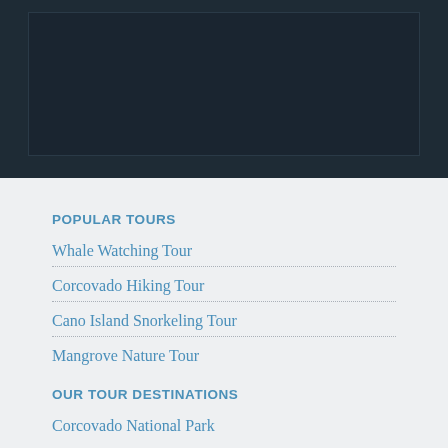[Figure (other): Dark blue/navy header image area with an inner dark panel, resembling a website banner or hero image placeholder.]
POPULAR TOURS
Whale Watching Tour
Corcovado Hiking Tour
Cano Island Snorkeling Tour
Mangrove Nature Tour
OUR TOUR DESTINATIONS
Corcovado National Park